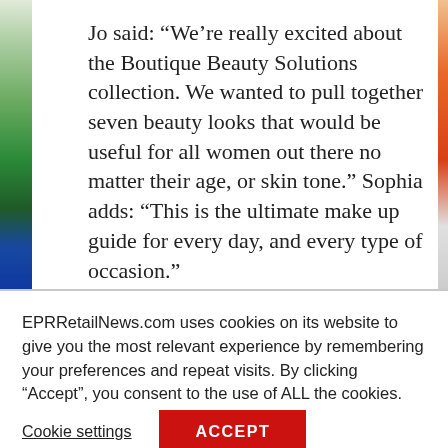Jo said: “We’re really excited about the Boutique Beauty Solutions collection. We wanted to pull together seven beauty looks that would be useful for all women out there no matter their age, or skin tone.” Sophia adds: “This is the ultimate make up guide for every day, and every type of occasion.”
EPRRetailNews.com uses cookies on its website to give you the most relevant experience by remembering your preferences and repeat visits. By clicking “Accept”, you consent to the use of ALL the cookies.
Cookie settings
ACCEPT